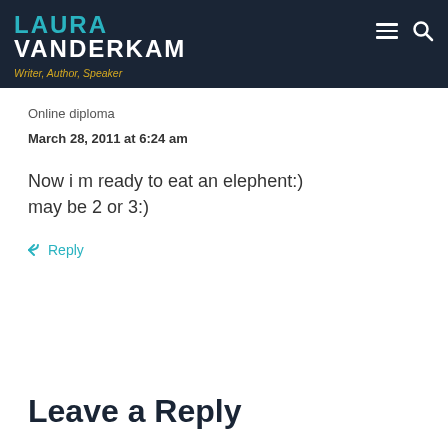LAURA VANDERKAM – Writer, Author, Speaker
Online diploma
March 28, 2011 at 6:24 am
Now i m ready to eat an elephent:) may be 2 or 3:)
↩ Reply
Leave a Reply